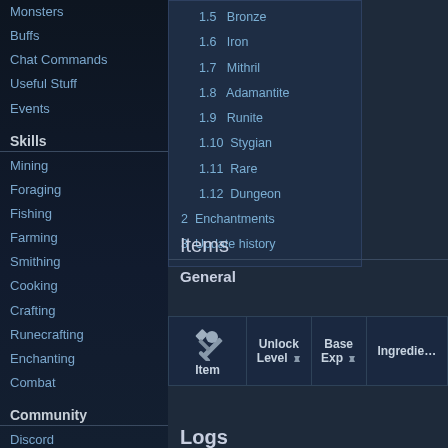Monsters
Buffs
Chat Commands
Useful Stuff
Events
Skills
Mining
Foraging
Fishing
Farming
Smithing
Cooking
Crafting
Runecrafting
Enchanting
Combat
Community
Discord
Subreddit
Tools
What links here
1.5  Bronze
1.6  Iron
1.7  Mithril
1.8  Adamantite
1.9  Runite
1.10  Stygian
1.11  Rare
1.12  Dungeon
2  Enchantments
3  Update history
Items
General
| Item | Unlock Level | Base Exp | Ingredients |
| --- | --- | --- | --- |
Logs